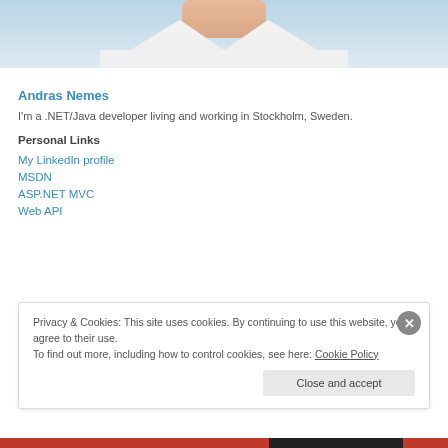[Figure (photo): Partial photo of a person wearing a white v-neck shirt, cropped showing neck and chest area against a light blue/white background]
Andras Nemes
I'm a .NET/Java developer living and working in Stockholm, Sweden.
Personal Links
My LinkedIn profile
MSDN
ASP.NET MVC
Web API
Privacy & Cookies: This site uses cookies. By continuing to use this website, you agree to their use.
To find out more, including how to control cookies, see here: Cookie Policy